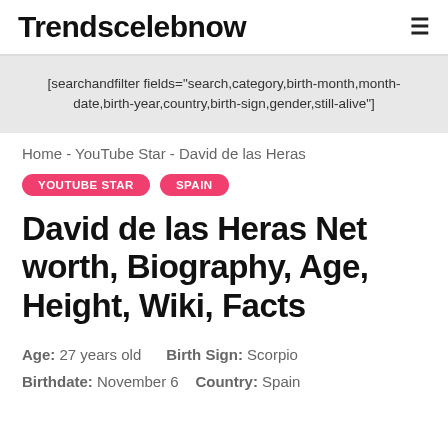Trendscelebnow
[searchandfilter fields="search,category,birth-month,month-date,birth-year,country,birth-sign,gender,still-alive"]
Home - YouTube Star - David de las Heras
YOUTUBE STAR   SPAIN
David de las Heras Net worth, Biography, Age, Height, Wiki, Facts
Age: 27 years old   Birth Sign: Scorpio
Birthdate: November 6   Country: Spain